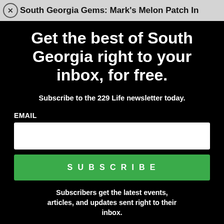South Georgia Gems: Mark's Melon Patch In
Get the best of South Georgia right to your inbox, for free.
Subscribe to the 229 Life newsletter today.
EMAIL
SUBSCRIBE
Subscribers get the latest events, articles, and updates sent right to their inbox.